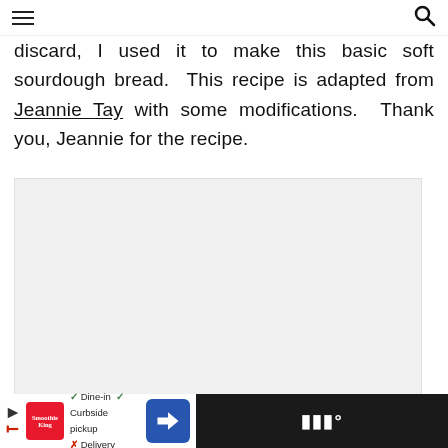Navigation menu and search icon
discard, I used it to make this basic soft sourdough bread. This recipe is adapted from Jeannie Tay with some modifications. Thank you, Jeannie for the recipe.
[Figure (photo): Light gray image placeholder area with floating social buttons (heart/like, share) and dot pagination indicator. 'What's Next' panel showing Banana Soft Sourdough... thumbnail.]
Ad bar: Smoothie King - Dine-in, Curbside pickup, Delivery options with navigation icon